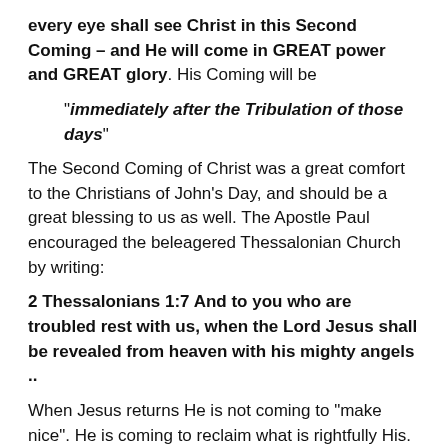every eye shall see Christ in this Second Coming – and He will come in GREAT power and GREAT glory. His Coming will be
“immediately after the Tribulation of those days”
The Second Coming of Christ was a great comfort to the Christians of John’s Day, and should be a great blessing to us as well. The Apostle Paul encouraged the beleagered Thessalonian Church by writing:
2 Thessalonians 1:7 And to you who are troubled rest with us, when the Lord Jesus shall be revealed from heaven with his mighty angels ..
When Jesus returns He is not coming to “make nice”. He is coming to reclaim what is rightfully His. And this will not be a pretty picture.